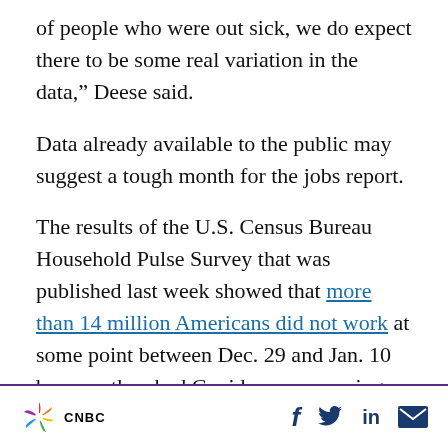of people who were out sick, we do expect there to be some real variation in the data," Deese said.
Data already available to the public may suggest a tough month for the jobs report.
The results of the U.S. Census Bureau Household Pulse Survey that was published last week showed that more than 14 million Americans did not work at some point between Dec. 29 and Jan. 10 because they had Covid, or were caring for someone with the virus, or for a child who did not go to school or daycare.
CNBC [social icons: Facebook, Twitter, LinkedIn, Email]